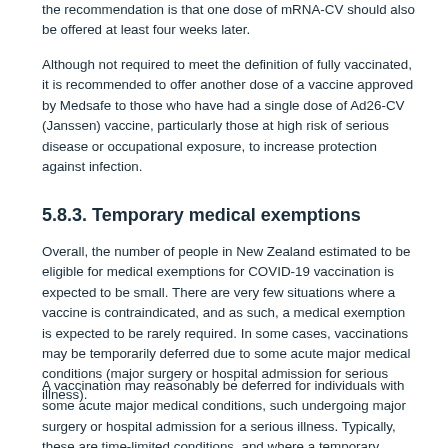the recommendation is that one dose of mRNA-CV should also be offered at least four weeks later.
Although not required to meet the definition of fully vaccinated, it is recommended to offer another dose of a vaccine approved by Medsafe to those who have had a single dose of Ad26-CV (Janssen) vaccine, particularly those at high risk of serious disease or occupational exposure, to increase protection against infection.
5.8.3. Temporary medical exemptions
Overall, the number of people in New Zealand estimated to be eligible for medical exemptions for COVID-19 vaccination is expected to be small. There are very few situations where a vaccine is contraindicated, and as such, a medical exemption is expected to be rarely required. In some cases, vaccinations may be temporarily deferred due to some acute major medical conditions (major surgery or hospital admission for serious illness).
A vaccination may reasonably be deferred for individuals with some acute major medical conditions, such undergoing major surgery or hospital admission for a serious illness. Typically, these are time-limited conditions, and where a temporary exemption is considered